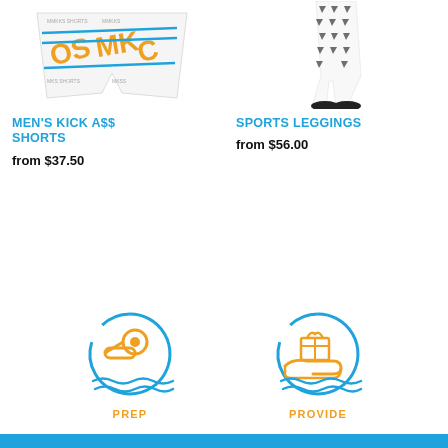[Figure (photo): Men's Kick Ass Shorts product image - white shorts with orange and blue pattern showing 'MKS' letters]
MEN'S KICK A$$ SHORTS
from $37.50
[Figure (photo): Sports Leggings product image - white leggings with dark triangle pattern worn by a model]
SPORTS LEGGINGS
from $56.00
[Figure (illustration): PREP icon - circular icon with whistle graphic over blue wave lines, orange color]
PREP
[Figure (illustration): PROVIDE icon - circular icon with gift box on hand graphic over blue wave lines, orange color]
PROVIDE